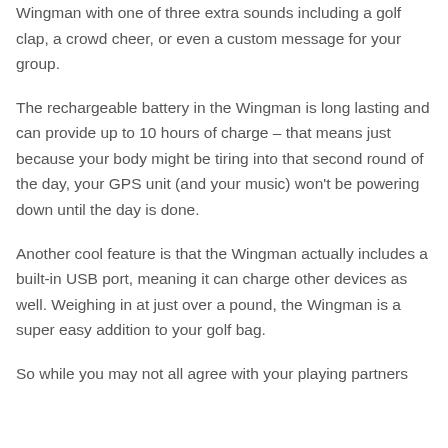Wingman with one of three extra sounds including a golf clap, a crowd cheer, or even a custom message for your group.
The rechargeable battery in the Wingman is long lasting and can provide up to 10 hours of charge – that means just because your body might be tiring into that second round of the day, your GPS unit (and your music) won't be powering down until the day is done.
Another cool feature is that the Wingman actually includes a built-in USB port, meaning it can charge other devices as well. Weighing in at just over a pound, the Wingman is a super easy addition to your golf bag.
So while you may not all agree with your playing partners